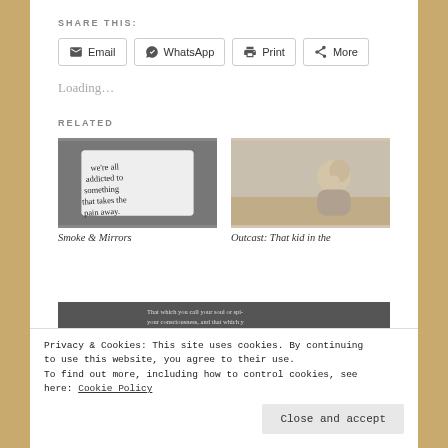SHARE THIS:
Email | WhatsApp | Print | More
Loading...
RELATED
[Figure (photo): Black and white photo of a handwritten note reading 'we're all addicted to something that takes the pain away.']
Smoke & Mirrors
[Figure (photo): Photo of a child curled up in a corner, hugging their knees.]
Outcast: That kid in the
[Figure (photo): Partial thumbnail of another related article image.]
Privacy & Cookies: This site uses cookies. By continuing to use this website, you agree to their use. To find out more, including how to control cookies, see here: Cookie Policy
Close and accept